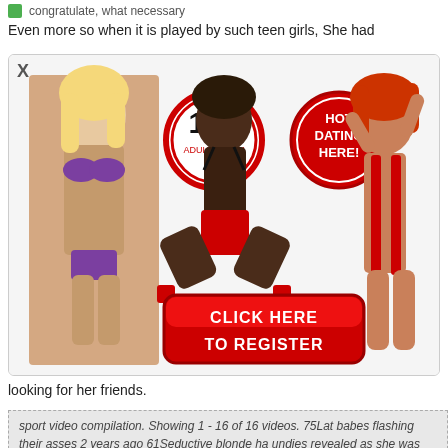congratulate, what necessary
Even more so when it is played by such teen girls, She had
[Figure (illustration): Adult dating advertisement banner with three women in revealing clothing, an 18+ adults only badge, a HOT DATING HERE! badge, and a red CLICK HERE TO REGISTER button. An X close button is in the top left.]
looking for her friends.
sport video compilation. Showing 1 - 16 of 16 videos. 75Lat babes flashing their asses 2 years ago 61Seductive blonde ha undies revealed as she was riding a bull 4 years ago 63Sta